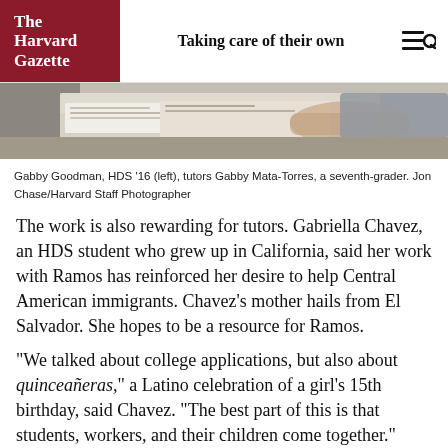The Harvard Gazette | Taking care of their own
[Figure (photo): Close-up photo of hands working on papers/documents on a desk, tutoring session]
Gabby Goodman, HDS '16 (left), tutors Gabby Mata-Torres, a seventh-grader. Jon Chase/Harvard Staff Photographer
The work is also rewarding for tutors. Gabriella Chavez, an HDS student who grew up in California, said her work with Ramos has reinforced her desire to help Central American immigrants. Chavez’s mother hails from El Salvador. She hopes to be a resource for Ramos.
“We talked about college applications, but also about quinceañeras,” a Latino celebration of a girl’s 15th birthday, said Chavez. “The best part of this is that students, workers, and their children come together.”